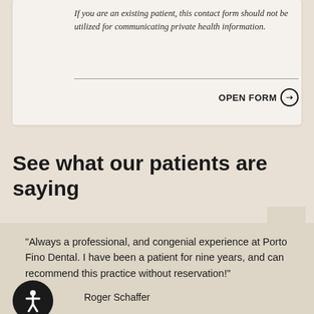If you are an existing patient, this contact form should not be utilized for communicating private health information.
OPEN FORM ➔
See what our patients are saying
"Always a professional, and congenial experience at Porto Fino Dental. I have been a patient for nine years, and can recommend this practice without reservation!"
Roger Schaffer